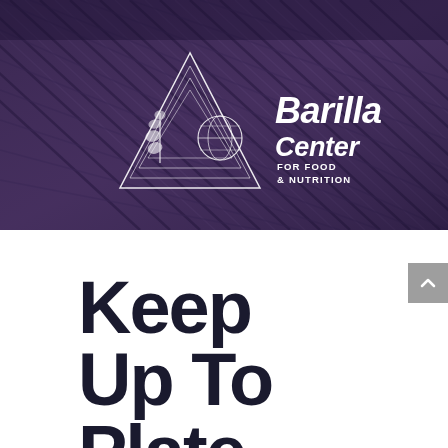[Figure (photo): Aerial view of a plowed agricultural field with purple-brown tones. Barilla Center for Food & Nutrition logo overlaid in white.]
Keep Up To Plate